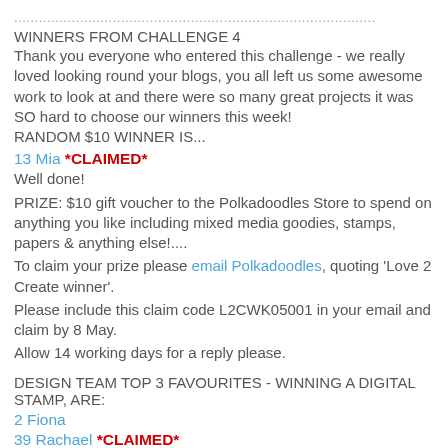........................................................................................
WINNERS FROM CHALLENGE 4
Thank you everyone who entered this challenge - we really loved looking round your blogs, you all left us some awesome work to look at and there were so many great projects it was SO hard to choose our winners this week! RANDOM $10 WINNER IS...
13 Mia *CLAIMED*
Well done!
PRIZE: $10 gift voucher to the Polkadoodles Store to spend on anything you like including mixed media goodies, stamps, papers & anything else!....
To claim your prize please email Polkadoodles, quoting 'Love 2 Create winner'.
Please include this claim code L2CWK05001 in your email and claim by 8 May.
Allow 14 working days for a reply please.
DESIGN TEAM TOP 3 FAVOURITES - WINNING A DIGITAL STAMP, ARE:
2 Fiona
39 Rachael *CLAIMED*